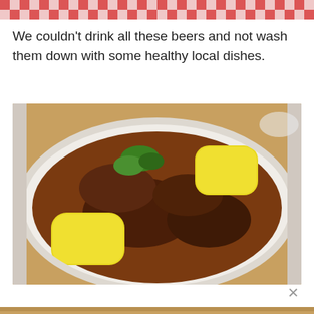[Figure (photo): Top partial image showing a red and white checkered tablecloth pattern]
We couldn't drink all these beers and not wash them down with some healthy local dishes.
[Figure (photo): A bowl of stew with dark brown sauce, pieces of meat, two large yellow polenta/potato chunks, and a green herb garnish, served in a white bowl]
[Figure (photo): Bottom partial image showing the beginning of another food photo]
×